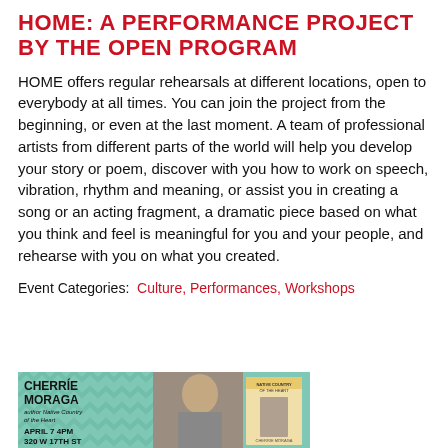HOME: A PERFORMANCE PROJECT BY THE OPEN PROGRAM
HOME offers regular rehearsals at different locations, open to everybody at all times. You can join the project from the beginning, or even at the last moment. A team of professional artists from different parts of the world will help you develop your story or poem, discover with you how to work on speech, vibration, rhythm and meaning, or assist you in creating a song or an acting fragment, a dramatic piece based on what you think and feel is meaningful for you and your people, and rehearse with you on what you created.
Event Categories: Culture, Performances, Workshops
[Figure (photo): Event flyer for Cherrie Moraga, author of Native Country of the Heart, April 7 4PM, 320 W 17th St, featuring a photo of the author and book cover on a teal chevron background]